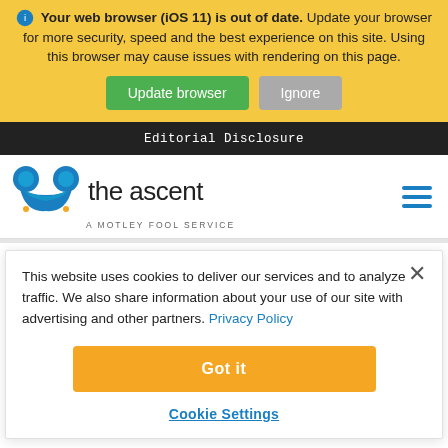Your web browser (iOS 11) is out of date. Update your browser for more security, speed and the best experience on this site. Using this browser may cause issues with rendering on this page.
Update browser   Ignore
Editorial Disclosure
[Figure (logo): The Ascent logo - jester hat icon with text 'the ascent' and subtitle 'A MOTLEY FOOL SERVICE']
This website uses cookies to deliver our services and to analyze traffic. We also share information about your use of our site with advertising and other partners. Privacy Policy
Got it
Cookie Settings